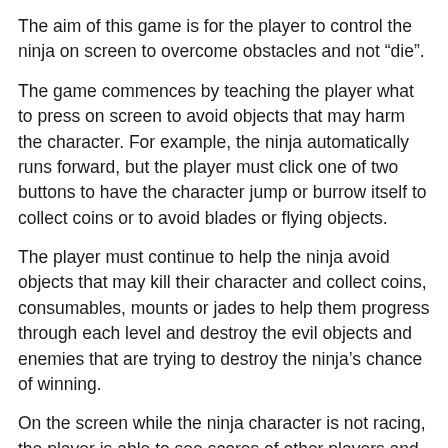The aim of this game is for the player to control the ninja on screen to overcome obstacles and not “die”.
The game commences by teaching the player what to press on screen to avoid objects that may harm the character. For example, the ninja automatically runs forward, but the player must click one of two buttons to have the character jump or burrow itself to collect coins or to avoid blades or flying objects.
The player must continue to help the ninja avoid objects that may kill their character and collect coins, consumables, mounts or jades to help them progress through each level and destroy the evil objects and enemies that are trying to destroy the ninja’s chance of winning.
On the screen while the ninja character is not racing, the player is able to see scores of other players and their friends if they have shared their details of the game with them. On screen there are also items for the player to find: weapons, different characters that can become unlocked, new allies that can be bought or won through the game and daily training routines to further the ninja’s skills.
Each day there are new goals for the player to reach. For